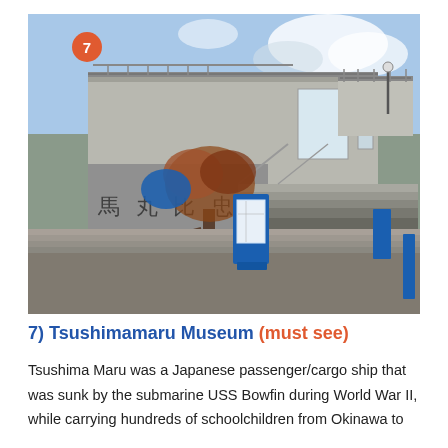[Figure (photo): Exterior photo of the Tsushimamaru Museum building in Okinawa, Japan. A concrete modernist building with stairs, railings, and a blue information kiosk in the foreground. A tree with reddish-brown leaves and Japanese characters on the building facade are visible. A number 7 badge in orange/red circle appears in the top-left corner of the photo.]
7) Tsushimamaru Museum (must see)
Tsushima Maru was a Japanese passenger/cargo ship that was sunk by the submarine USS Bowfin during World War II, while carrying hundreds of schoolchildren from Okinawa to